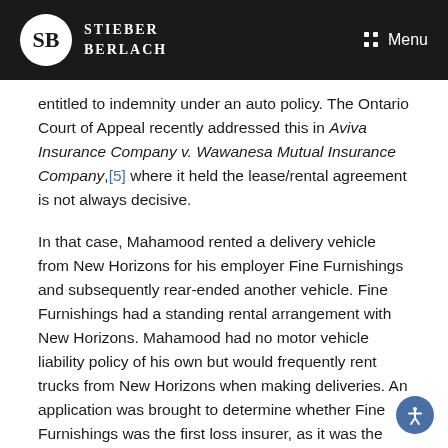STIEBER BERLACH | Menu
entitled to indemnity under an auto policy. The Ontario Court of Appeal recently addressed this in Aviva Insurance Company v. Wawanesa Mutual Insurance Company,[5] where it held the lease/rental agreement is not always decisive.
In that case, Mahamood rented a delivery vehicle from New Horizons for his employer Fine Furnishings and subsequently rear-ended another vehicle. Fine Furnishings had a standing rental arrangement with New Horizons. Mahamood had no motor vehicle liability policy of his own but would frequently rent trucks from New Horizons when making deliveries. An application was brought to determine whether Fine Furnishings was the first loss insurer, as it was the lessee of the rental truck and employed Mahamood.